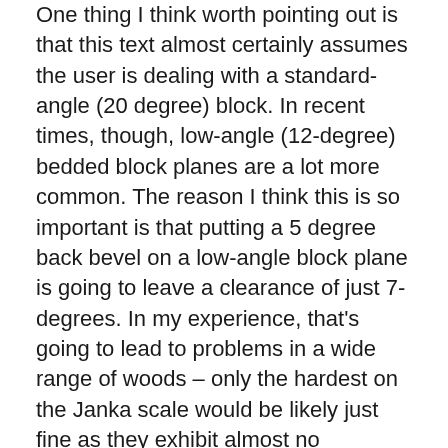One thing I think worth pointing out is that this text almost certainly assumes the user is dealing with a standard-angle (20 degree) block. In recent times, though, low-angle (12-degree) bedded block planes are a lot more common. The reason I think this is so important is that putting a 5 degree back bevel on a low-angle block plane is going to leave a clearance of just 7-degrees. In my experience, that's going to lead to problems in a wide range of woods – only the hardest on the Janka scale would be likely just fine as they exhibit almost no springback.
on an awful lot of timbers, as soon as the sharpness of the blade starts to wear a tad, the plane is going to start acting funky – doing the dive and skim routine that confounds so many new plane users. My